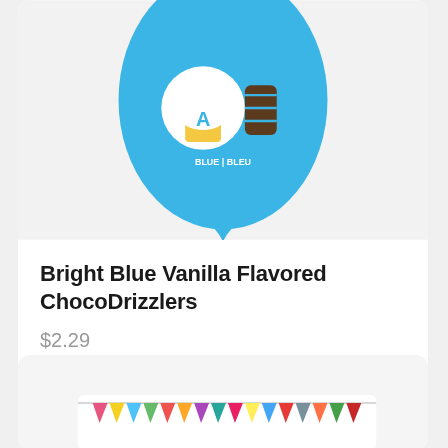[Figure (photo): Blue metallic pouch bag of Bright Blue Vanilla Flavored ChocoDrizzlers candy product, with cupcake and chocolate imagery on the packaging]
Bright Blue Vanilla Flavored ChocoDrizzlers
$2.29
[Figure (photo): Bottom portion of a second product card showing colorful bunting/pennant flag decoration on white packaging]